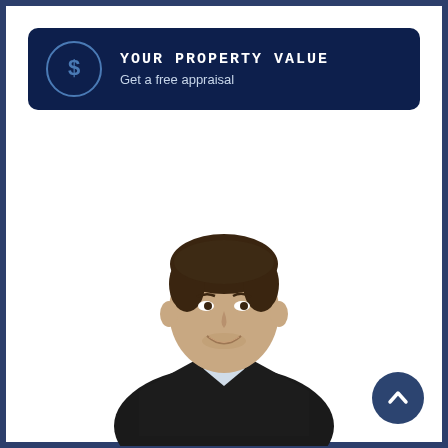[Figure (infographic): Dark navy banner with a dollar sign icon in a circle on the left, and the text 'Your Property Value' in uppercase monospace font with 'Get a free appraisal' subtitle in white/light blue text]
Your Property Value
Get a free appraisal
[Figure (photo): Professional headshot of a young man in a dark suit jacket and light blue shirt, smiling, with short dark brown hair, photographed against a white background]